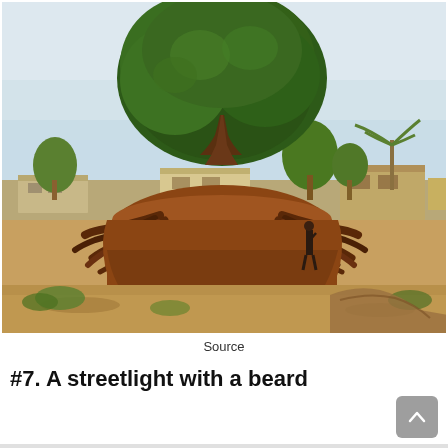[Figure (photo): A large tree with exposed roots sitting atop an eroded red-earth mound in an African rural landscape. Buildings and other trees visible in background, a person standing to the right.]
Source
#7. A streetlight with a beard